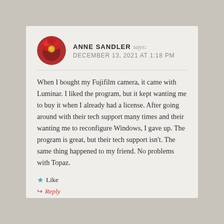ANNE SANDLER says: DECEMBER 13, 2021 AT 1:18 PM
When I bought my Fujifilm camera, it came with Luminar. I liked the program, but it kept wanting me to buy it when I already had a license. After going around with their tech support many times and their wanting me to reconfigure Windows, I gave up. The program is great, but their tech support isn't. The same thing happened to my friend. No problems with Topaz.
Like
Reply